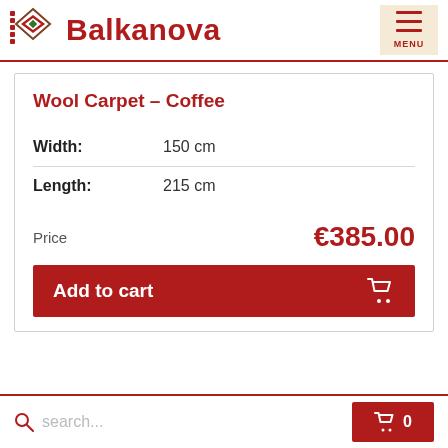Balkanova
Wool Carpet – Coffee
| Attribute | Value |
| --- | --- |
| Width: | 150 cm |
| Length: | 215 cm |
Price €385.00
Add to cart
search... 0